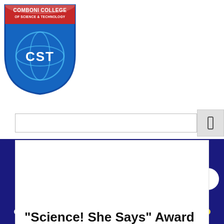[Figure (logo): Comboni College of Science & Technology shield logo with red top band, blue shield, and CST letters]
[Figure (screenshot): Search bar input field with button on right showing a rectangle icon]
"Science! She Says" Award for Female Scientists
[Figure (infographic): Dark navy blue bottom section with navigation arrow button and row of yellow and white dots (carousel indicators)]